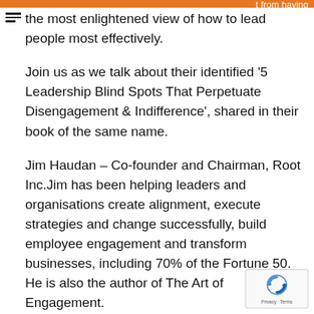from having
the most enlightened view of how to lead people most effectively.
Join us as we talk about their identified '5 Leadership Blind Spots That Perpetuate Disengagement & Indifference', shared in their book of the same name.
Jim Haudan – Co-founder and Chairman, Root Inc.Jim has been helping leaders and organisations create alignment, execute strategies and change successfully, build employee engagement and transform businesses, including 70% of the Fortune 50. He is also the author of The Art of Engagement.
[Figure (logo): reCAPTCHA badge with Privacy - Terms text]